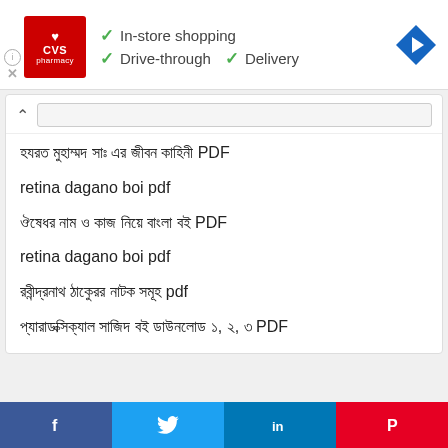[Figure (screenshot): CVS Pharmacy advertisement banner with logo, checkmarks for In-store shopping, Drive-through, and Delivery, plus a navigation arrow icon on the right. Info and close buttons at bottom left.]
হযরত মুহাম্মদ সাঃ এর জীবন কাহিনী PDF
retina dagano boi pdf
ঔষেধর নাম ও কাজ নিয়ে বাংলা বই PDF
retina dagano boi pdf
রবীন্দ্রনাথ ঠাকুেরর নাটক সমূহ pdf
প্যারাডক্সিক্যাল সাজিদ বই ডাউনলোড ১, ২, ৩ PDF
[Figure (screenshot): Social share bar with Facebook (blue), Twitter (light blue), LinkedIn (dark blue), and Pinterest (red) buttons at the bottom of the page.]